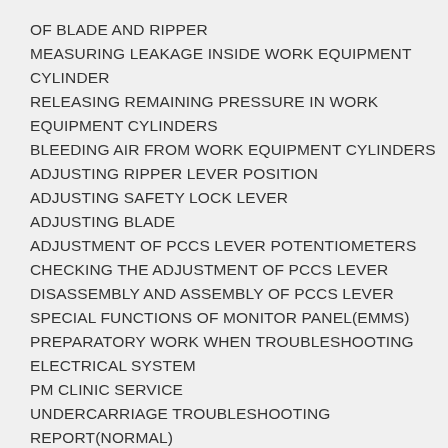OF BLADE AND RIPPER
MEASURING LEAKAGE INSIDE WORK EQUIPMENT CYLINDER
RELEASING REMAINING PRESSURE IN WORK EQUIPMENT CYLINDERS
BLEEDING AIR FROM WORK EQUIPMENT CYLINDERS
ADJUSTING RIPPER LEVER POSITION
ADJUSTING SAFETY LOCK LEVER
ADJUSTING BLADE
ADJUSTMENT OF PCCS LEVER POTENTIOMETERS
CHECKING THE ADJUSTMENT OF PCCS LEVER
DISASSEMBLY AND ASSEMBLY OF PCCS LEVER
SPECIAL FUNCTIONS OF MONITOR PANEL(EMMS)
PREPARATORY WORK WHEN TROUBLESHOOTING ELECTRICAL SYSTEM
PM CLINIC SERVICE
UNDERCARRIAGE TROUBLESHOOTING REPORT(NORMAL)
UNDERCARRIAGE TROUBLESHOOTING